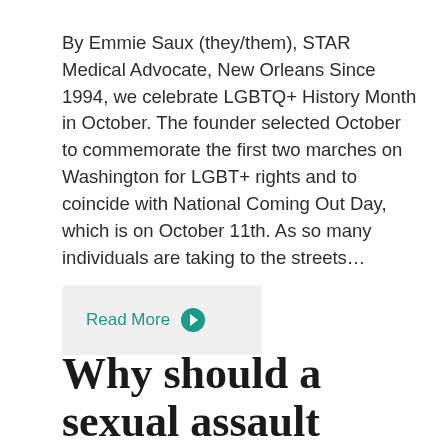By Emmie Saux (they/them), STAR Medical Advocate, New Orleans Since 1994, we celebrate LGBTQ+ History Month in October. The founder selected October to commemorate the first two marches on Washington for LGBT+ rights and to coincide with National Coming Out Day, which is on October 11th. As so many individuals are taking to the streets...
Read More →
Why should a sexual assault center work to